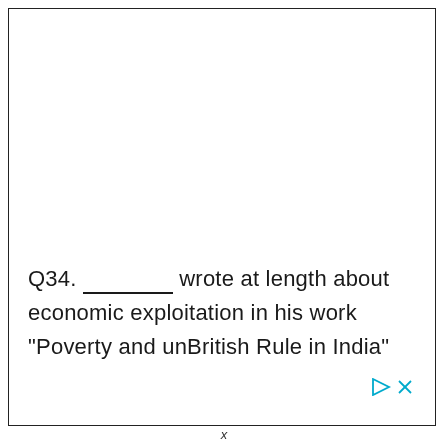Q34. ___________ wrote at length about economic exploitation in his work "Poverty and unBritish Rule in India"
x